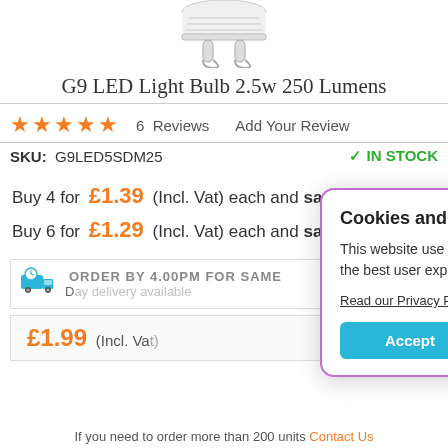[Figure (photo): G9 LED light bulb product image showing white bulb top with two U-shaped metal pins at the bottom]
G9 LED Light Bulb 2.5w 250 Lumens
★★★★★   6 Reviews   Add Your Review
SKU: G9LED5SDM25   ✓ IN STOCK
Buy 4 for £1.39 (Incl. Vat) each and save 30%
Buy 6 for £1.29 (Incl. Vat) each and save 35%
ORDER BY 4.00PM FOR SAME
[Figure (illustration): Delivery truck clock icon in teal/cyan color]
£1.99 (Incl. Vat)
Cookies and Privacy
This website use cookies to ensure you get the best user experience on our website.
Read our Privacy Policy
Accept   Decline
If you need to order more than 200 units Contact Us